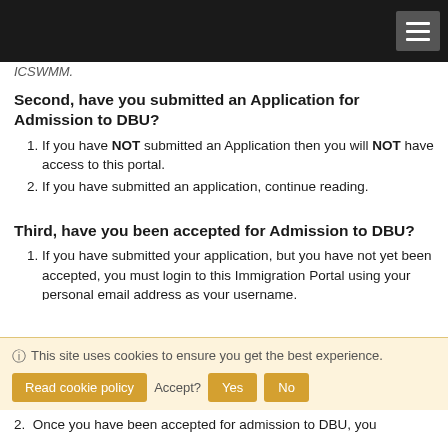Second, have you submitted an Application for Admission to DBU?
If you have NOT submitted an Application then you will NOT have access to this portal.
If you have submitted an application, continue reading.
Third, have you been accepted for Admission to DBU?
If you have submitted your application, but you have not yet been accepted, you must login to this Immigration Portal using your personal email address as your username.
If you have been accepted for admission to DBU, you are required to login using your MyDBU One Login credentials.
This site uses cookies to ensure you get the best experience. Read cookie policy Accept? Yes No
Once you have been accepted for admission to DBU, you